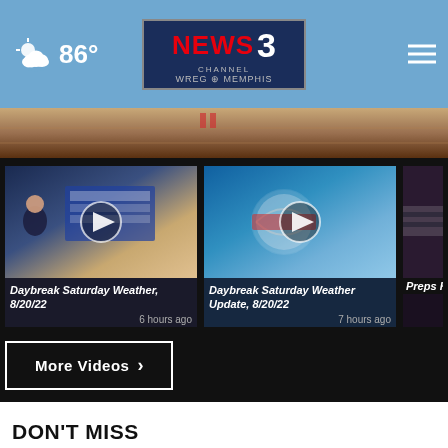86° — NEWS CHANNEL 3 WREG MEMPHIS
[Figure (screenshot): Hero image banner showing wooden floor/basketball court background]
[Figure (screenshot): Video thumbnail: weather forecast with meteorologist at forecast board — Daybreak Saturday Weather, 8/20/22, 6 hours ago]
Daybreak Saturday Weather, 8/20/22
6 hours ago
[Figure (screenshot): Video thumbnail: close-up of billiard balls — Daybreak Saturday Weather Update, 8/20/22, 7 hours ago]
Daybreak Saturday Weather Update, 8/20/22
7 hours ago
[Figure (screenshot): Partial video thumbnail: person in striped shirt — Preps Kirby (partial)]
Preps Kirby
More Videos ›
DON'T MISS